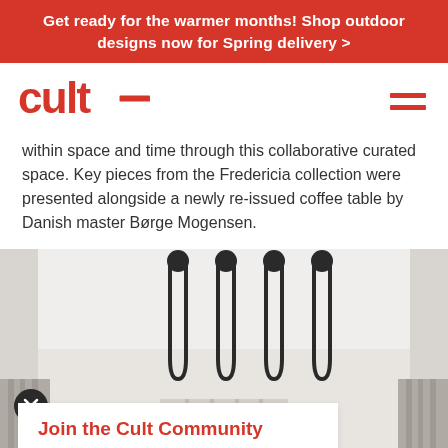Get ready for the warmer months! Shop outdoor designs now for Spring delivery >
[Figure (logo): Cult furniture brand logo in red]
within space and time through this collaborative curated space. Key pieces from the Fredericia collection were presented alongside a newly re-issued coffee table by Danish master Børge Mogensen.
[Figure (photo): Interior photo showing four black pendant tube lights hanging from a white ceiling, with curtains visible below]
Join the Cult Community